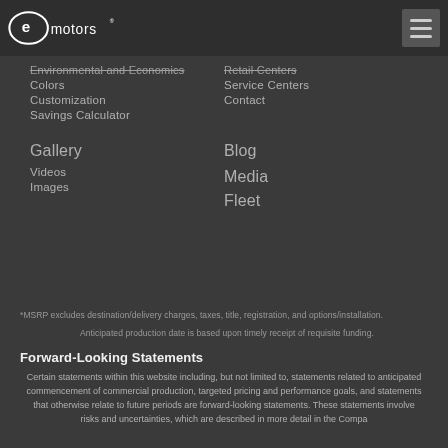Elio Motors logo and navigation hamburger menu
Colors
Customization
Savings Calculator
Service Centers
Contact
Gallery
Videos
Images
Blog
Media
Fleet
*MSRP excludes destination/delivery charges, taxes, title, registration, and options/installation.
Anticipated production date is based upon timely receipt of requisite funding.
Forward-Looking Statements
Certain statements within this website including, but not limited to, statements related to anticipated commencement of commercial production, targeted pricing and performance goals, and statements that otherwise relate to future periods are forward-looking statements. These statements involve risks and uncertainties, which are described in more detail in the Company